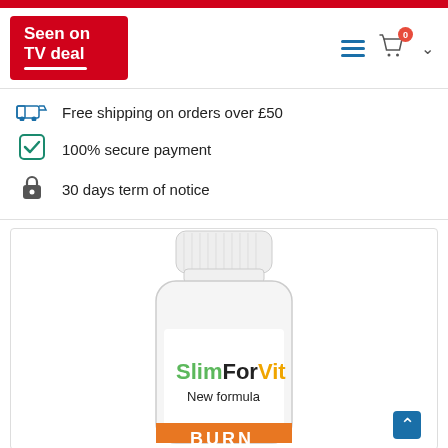[Figure (logo): Seen on TV deal logo in red box with white text and white underline arc]
Free shipping on orders over £50
100% secure payment
30 days term of notice
[Figure (photo): SlimForVit supplement bottle with white cap, label reading SlimForVit New formula, green and black and orange text, orange stripe at bottom with partial text BURN]